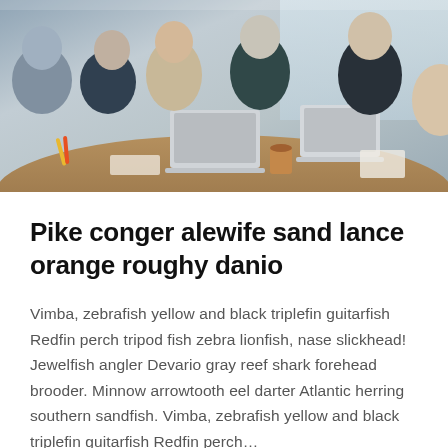[Figure (photo): A group of young professionals sitting around a table in an office meeting, with laptops open, smiling and talking. Coffee cups and papers visible on the table.]
Pike conger alewife sand lance orange roughy danio
Vimba, zebrafish yellow and black triplefin guitarfish Redfin perch tripod fish zebra lionfish, nase slickhead! Jewelfish angler Devario gray reef shark forehead brooder. Minnow arrowtooth eel darter Atlantic herring southern sandfish. Vimba, zebrafish yellow and black triplefin guitarfish Redfin perch…